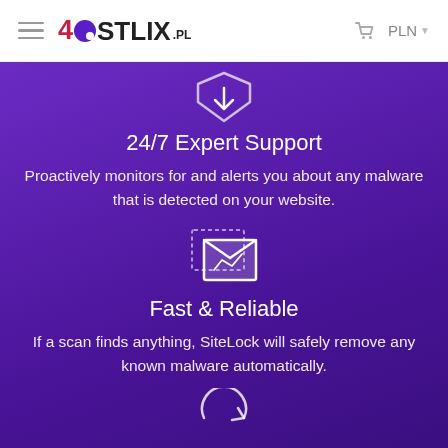[Figure (logo): Hostlix.pl logo with hamburger menu, shopping cart icon and PLN currency selector]
[Figure (illustration): White shield with download arrow icon on purple background]
24/7 Expert Support
Proactively monitors for and alerts you about any malware that is detected on your website.
[Figure (illustration): White envelope with chart/graph icon on purple background]
Fast & Reliable
If a scan finds anything, SiteLock will safely remove any known malware automatically.
[Figure (illustration): Partial circular arrow icon at bottom of page on purple background]